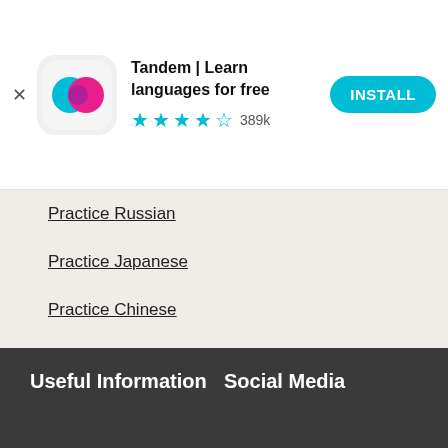[Figure (screenshot): Tandem app install banner with logo icon, 4.5 star rating with 389k reviews, and teal INSTALL button]
Practice Russian
Practice Japanese
Practice Chinese
Practice Portuguese
Practice French
Practice German
Useful Information   Social Media